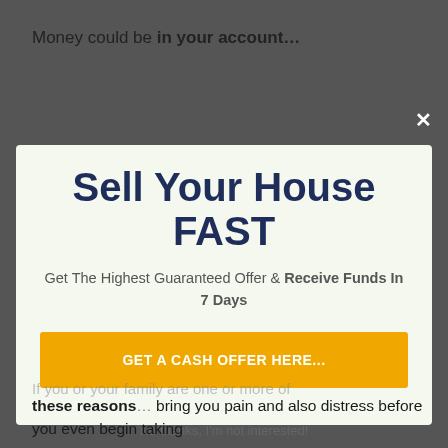Money could be in your account…
[Figure (screenshot): Modal popup with dark background overlay showing a real estate cash offer advertisement with close button (×)]
Sell Your House FAST
Get The Highest Guaranteed Offer & Receive Funds In 7 Days
GET A CASH OFFER HERE...
No thanks, I'm not interested!
these reasons… bring you pain and also distress before you even begin taking